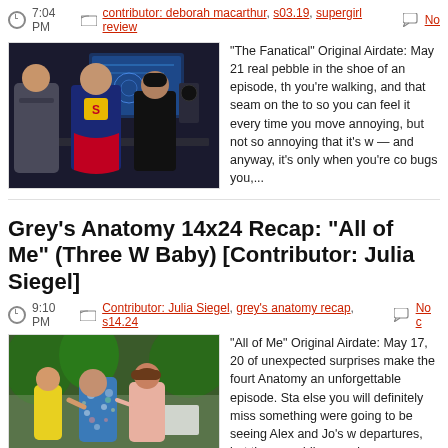7:04 PM  contributor: deborah macarthur, s03.19, supergirl review  No
[Figure (photo): Three people in a sci-fi lab setting; a woman in a Supergirl costume stands in the center]
“The Fanatical” Original Airdate: May 21 real pebble in the shoe of an episode, th you're walking, and that seam on the to so you can feel it every time you move annoying, but not so annoying that it’s w — and anyway, it’s only when you’re co bugs you,...
Grey’s Anatomy 14x24 Recap: “All of Me” (Three W Baby) [Contributor: Julia Siegel]
9:10 PM  Contributor: Julia Siegel, grey's anatomy recap, s14.24  No c
[Figure (photo): Three women in colorful dresses at an outdoor event, appears to be a wedding]
“All of Me” Original Airdate: May 17, 20 of unexpected surprises make the fourt Anatomy an unforgettable episode. Sta else you will definitely miss something were going to be seeing Alex and Jo’s w departures, but three weddings and one